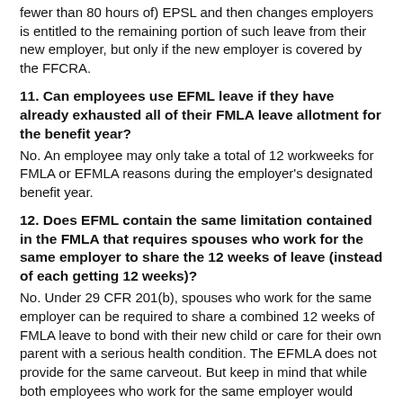fewer than 80 hours of) EPSL and then changes employers is entitled to the remaining portion of such leave from their new employer, but only if the new employer is covered by the FFCRA.
11. Can employees use EFML leave if they have already exhausted all of their FMLA leave allotment for the benefit year?
No. An employee may only take a total of 12 workweeks for FMLA or EFMLA reasons during the employer's designated benefit year.
12. Does EFML contain the same limitation contained in the FMLA that requires spouses who work for the same employer to share the 12 weeks of leave (instead of each getting 12 weeks)?
No. Under 29 CFR 201(b), spouses who work for the same employer can be required to share a combined 12 weeks of FMLA leave to bond with their new child or care for their own parent with a serious health condition. The EFMLA does not provide for the same carveout. But keep in mind that while both employees who work for the same employer would each be eligible for EFMLA leave, they would likely not be able to both take leave to care for their child